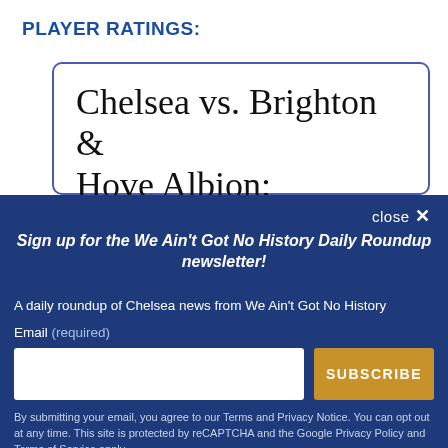PLAYER RATINGS:
Chelsea vs. Brighton & Hove Albion:
close ✕
Sign up for the We Ain't Got No History Daily Roundup newsletter!
A daily roundup of Chelsea news from We Ain't Got No History
Email (required)
SUBSCRIBE
By submitting your email, you agree to our Terms and Privacy Notice. You can opt out at any time. This site is protected by reCAPTCHA and the Google Privacy Policy and Terms of Service apply.